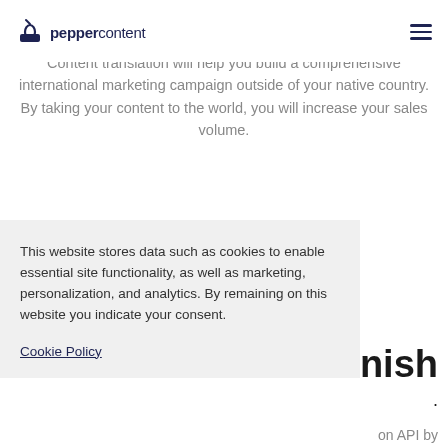peppercontent
Content translation will help you build a comprehensive international marketing campaign outside of your native country. By taking your content to the world, you will increase your sales volume.
This website stores data such as cookies to enable essential site functionality, as well as marketing, personalization, and analytics. By remaining on this website you indicate your consent.
Cookie Policy
nnish
on API by
turning your Afrikaans text into the box on the left